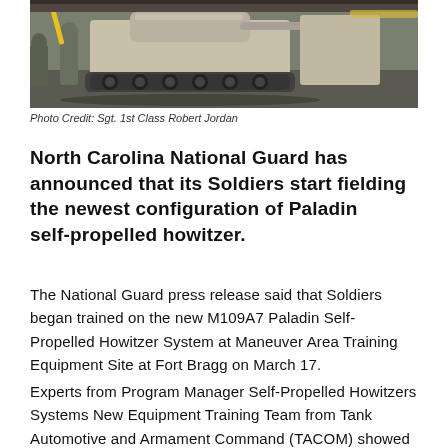[Figure (photo): Military vehicle (Paladin self-propelled howitzer) in an indoor facility with soldiers in camouflage uniforms]
Photo Credit: Sgt. 1st Class Robert Jordan
North Carolina National Guard has announced that its Soldiers start fielding the newest configuration of Paladin self-propelled howitzer.
The National Guard press release said that Soldiers began trained on the new M109A7 Paladin Self-Propelled Howitzer System at Maneuver Area Training Equipment Site at Fort Bragg on March 17.
Experts from Program Manager Self-Propelled Howitzers Systems New Equipment Training Team from Tank Automotive and Armament Command (TACOM) showed maintainers of F Company, 230th